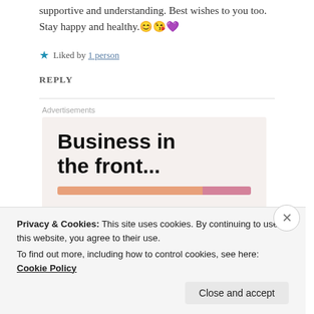supportive and understanding. Best wishes to you too. Stay happy and healthy.😊😘💜
★ Liked by 1 person
REPLY
[Figure (screenshot): Advertisement box with text 'Business in the front...' on a beige background with an orange-to-pink gradient stripe at the bottom]
Privacy & Cookies: This site uses cookies. By continuing to use this website, you agree to their use.
To find out more, including how to control cookies, see here: Cookie Policy
Close and accept